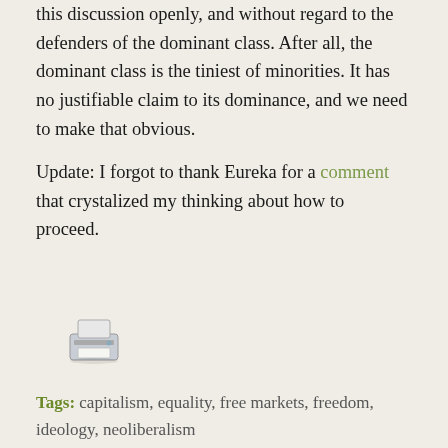this discussion openly, and without regard to the defenders of the dominant class. After all, the dominant class is the tiniest of minorities. It has no justifiable claim to its dominance, and we need to make that obvious.
Update: I forgot to thank Eureka for a comment that crystalized my thinking about how to proceed.
[Figure (illustration): Printer icon]
Tags: capitalism, equality, free markets, freedom, ideology, neoliberalism
Share this entry
[Figure (infographic): Share buttons row with Facebook, Twitter, WhatsApp, and Email icons]